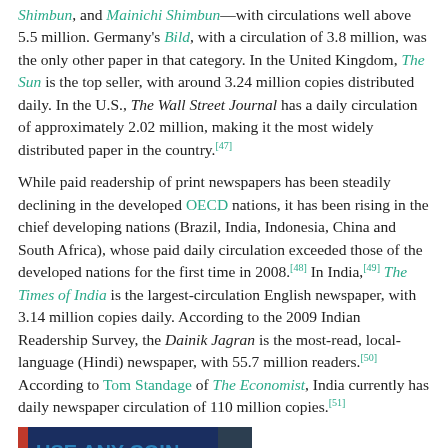Shimbun, and Mainichi Shimbun—with circulations well above 5.5 million. Germany's Bild, with a circulation of 3.8 million, was the only other paper in that category. In the United Kingdom, The Sun is the top seller, with around 3.24 million copies distributed daily. In the U.S., The Wall Street Journal has a daily circulation of approximately 2.02 million, making it the most widely distributed paper in the country.[47]
While paid readership of print newspapers has been steadily declining in the developed OECD nations, it has been rising in the chief developing nations (Brazil, India, Indonesia, China and South Africa), whose paid daily circulation exceeded those of the developed nations for the first time in 2008.[48] In India,[49] The Times of India is the largest-circulation English newspaper, with 3.14 million copies daily. According to the 2009 Indian Readership Survey, the Dainik Jagran is the most-read, local-language (Hindi) newspaper, with 55.7 million readers.[50] According to Tom Standage of The Economist, India currently has daily newspaper circulation of 110 million copies.[51]
[Figure (photo): Photo of a newspaper vending machine or publication cover showing text 'USE ANY COIN COMBINATION' with 'Nickels, Dimes, Quarters' visible]